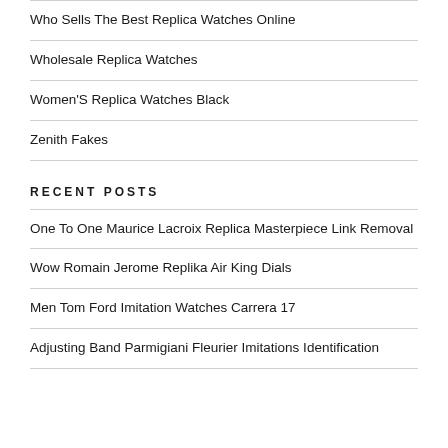Who Sells The Best Replica Watches Online
Wholesale Replica Watches
Women'S Replica Watches Black
Zenith Fakes
RECENT POSTS
One To One Maurice Lacroix Replica Masterpiece Link Removal
Wow Romain Jerome Replika Air King Dials
Men Tom Ford Imitation Watches Carrera 17
Adjusting Band Parmigiani Fleurier Imitations Identification